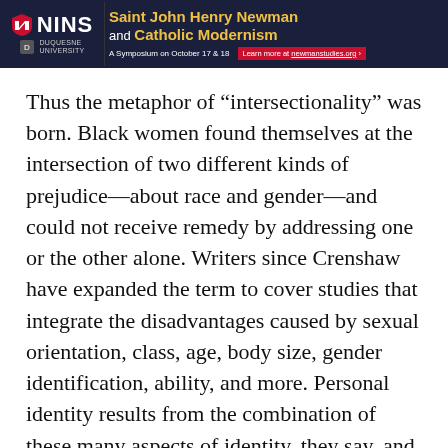[Figure (other): Advertisement banner for NINS / Duquesne University symposium: Saint John Henry Newman and Catholic Modernism. A Symposium on October 17 & 18. Learn more at newmanstudies.org]
Thus the metaphor of “intersectionality” was born. Black women found themselves at the intersection of two different kinds of prejudice—about race and gender—and could not receive remedy by addressing one or the other alone. Writers since Crenshaw have expanded the term to cover studies that integrate the disadvantages caused by sexual orientation, class, age, body size, gender identification, ability, and more. Personal identity results from the combination of these many aspects of identity, they say, and each one signifies a measure of either oppression or privilege. As a whole, these traits determine an individual’s position in the “matrix of domination.”